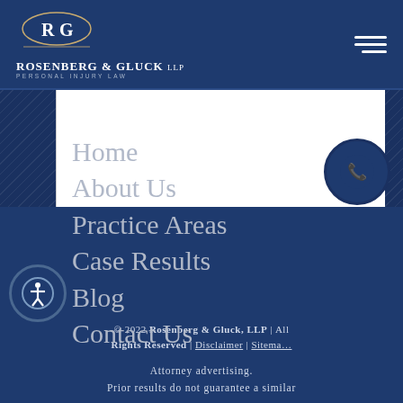Rosenberg & Gluck LLP – Personal Injury Law
Home
About Us
Practice Areas
Case Results
Blog
Contact Us
© 2022 Rosenberg & Gluck, LLP | All Rights Reserved | Disclaimer | Sitemap
Attorney advertising. Prior results do not guarantee a similar